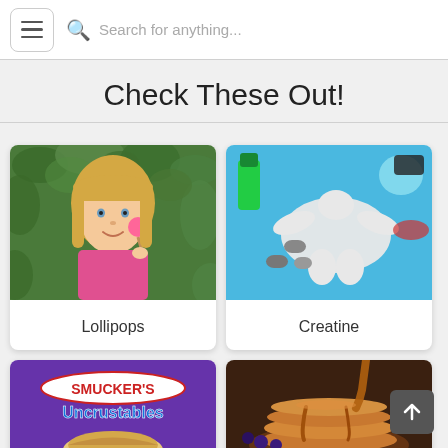Search for anything...
Check These Out!
[Figure (photo): Young blonde girl in pink shirt holding a lollipop, smiling in front of green ivy leaves]
Lollipops
[Figure (photo): Creatine powder shaped like a muscular figure on a blue surface with capsules and liquid bottles]
Creatine
[Figure (photo): Smucker's Uncrustables sandwich package with purple background]
[Figure (photo): Stack of pancakes with syrup being poured, blueberries on the side]